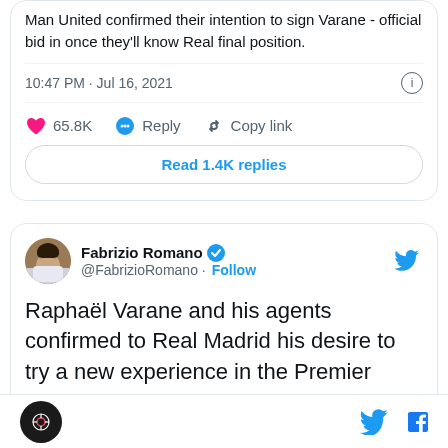Man United confirmed their intention to sign Varane - official bid in once they'll know Real final position.
10:47 PM · Jul 16, 2021
65.8K  Reply  Copy link
Read 1.4K replies
Fabrizio Romano @FabrizioRomano · Follow
Raphaël Varane and his agents confirmed to Real Madrid his desire to try a new experience in the Premier League. He'll be